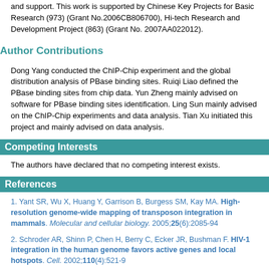and support. This work is supported by Chinese Key Projects for Basic Research (973) (Grant No.2006CB806700), Hi-tech Research and Development Project (863) (Grant No. 2007AA022012).
Author Contributions
Dong Yang conducted the ChIP-Chip experiment and the global distribution analysis of PBase binding sites. Ruiqi Liao defined the PBase binding sites from chip data. Yun Zheng mainly advised on software for PBase binding sites identification. Ling Sun mainly advised on the ChIP-Chip experiments and data analysis. Tian Xu initiated this project and mainly advised on data analysis.
Competing Interests
The authors have declared that no competing interest exists.
References
1. Yant SR, Wu X, Huang Y, Garrison B, Burgess SM, Kay MA. High-resolution genome-wide mapping of transposon integration in mammals. Molecular and cellular biology. 2005;25(6):2085-94
2. Schroder AR, Shinn P, Chen H, Berry C, Ecker JR, Bushman F. HIV-1 integration in the human genome favors active genes and local hotspots. Cell. 2002;110(4):521-9
3. Mitchell RS, Beitzel BF, Schroder AR, Shinn P, Chen H, Berry CC. et al. Retroviral DNA integration: ASLV, HIV, and MLV show distinct target site preferences. PLoS biology. 2004;2(8):E234.